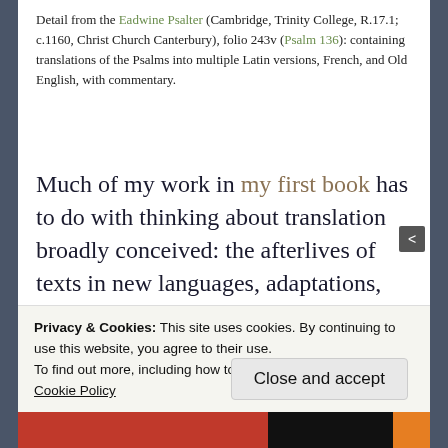Detail from the Eadwine Psalter (Cambridge, Trinity College, R.17.1; c.1160, Christ Church Canterbury), folio 243v (Psalm 136): containing translations of the Psalms into multiple Latin versions, French, and Old English, with commentary.
Much of my work in my first book has to do with thinking about translation broadly conceived: the afterlives of texts in new languages, adaptations, and across media. The broader concept of translation, from Latin translatio, encompasses much more than presenting texts in another
Privacy & Cookies: This site uses cookies. By continuing to use this website, you agree to their use.
To find out more, including how to control cookies, see here:
Cookie Policy